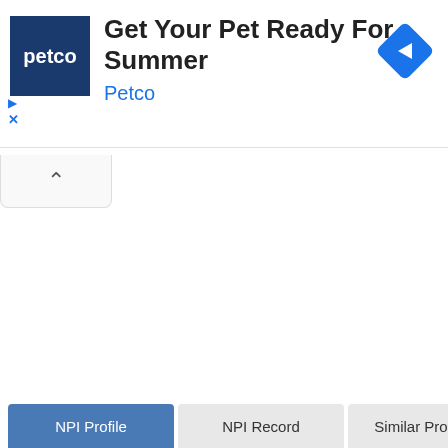[Figure (screenshot): Petco advertisement banner with dark blue Petco logo square on left, headline text 'Get Your Pet Ready For Summer' and 'Petco' in blue below it, and a blue diamond-shaped navigation arrow icon on the right. Small blue play triangle and X close button on the lower left of the ad. A collapse/chevron tab below the ad. At the bottom, three navigation tabs: 'NPI Profile' (active, blue), 'NPI Record', and 'Similar Providers'.]